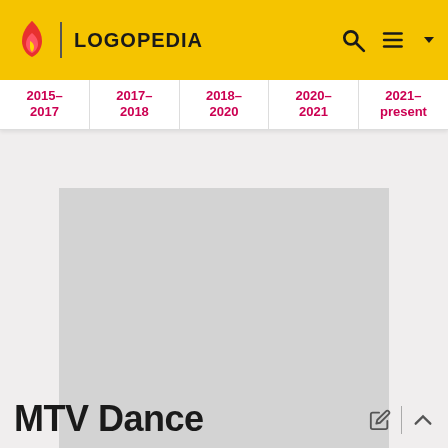LOGOPEDIA
| 2015–2017 | 2017–2018 | 2018–2020 | 2020–2021 | 2021–present |
[Figure (other): Gray advertisement placeholder block]
ADVERTISEMENT
MTV Dance